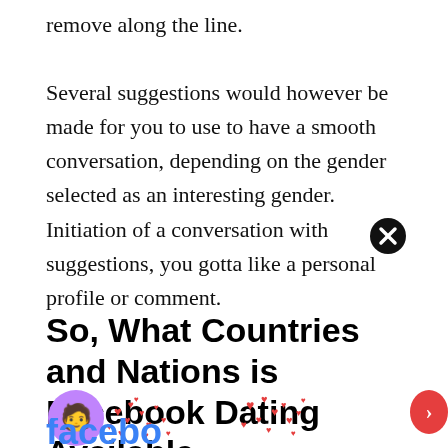remove along the line.

Several suggestions would however be made for you to use to have a smooth conversation, depending on the gender selected as an interesting gender. Initiation of a conversation with suggestions, you gotta like a personal profile or comment.
So, What Countries and Nations is Facebook Dating Available
[Figure (illustration): Decorative image with purple heart icon with person silhouette and scattered red heart emojis, plus additional heart cluster, and partial Facebook Dating logo text at bottom]